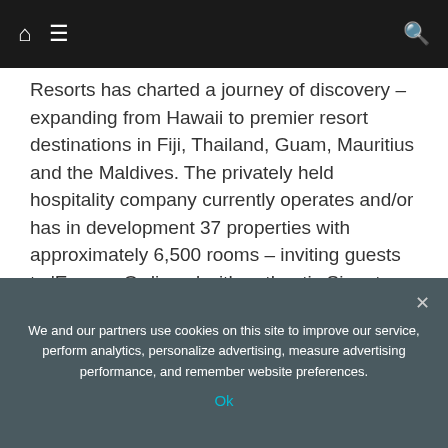[Navigation bar with home icon, menu icon, and search icon]
Resorts has charted a journey of discovery – expanding from Hawaii to premier resort destinations in Fiji, Thailand, Guam, Mauritius and the Maldives. The privately held hospitality company currently operates and/or has in development 37 properties with approximately 6,500 rooms – inviting guests to 'Escape Ordinary' with authentic Signature Experiences and the Outrigger DISCOVERY loyalty program. Outrigger's multi-branded portfolio includes Outrigger® Resorts, OHANA Hotels by Outrigger® and Hawaii Vacation Condos by Outrigger® while also managing select properties from top international
We and our partners use cookies on this site to improve our service, perform analytics, personalize advertising, measure advertising performance, and remember website preferences.
Ok